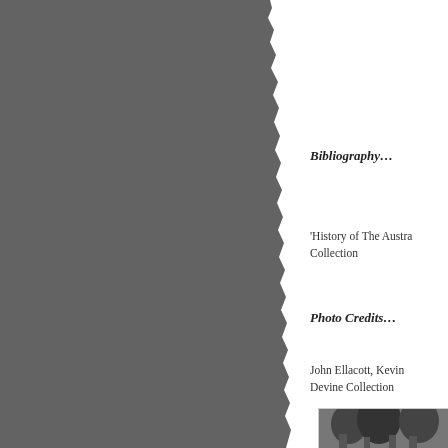[Figure (photo): Large grey torn-edge decorative panel on the left side of the page]
Bibliography…
'History of The Austra Collection
Photo Credits…
John Ellacott, Kevin Devine Collection
[Figure (photo): Black and white historical photograph showing figures near trees]